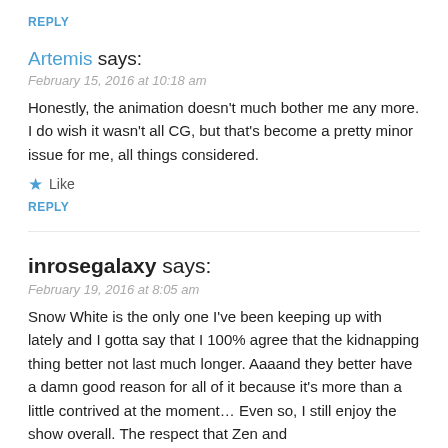REPLY
Artemis says:
February 15, 2016 at 10:18 am
Honestly, the animation doesn't much bother me any more. I do wish it wasn't all CG, but that's become a pretty minor issue for me, all things considered.
★ Like
REPLY
inrosegalaxy says:
February 19, 2016 at 8:05 am
Snow White is the only one I've been keeping up with lately and I gotta say that I 100% agree that the kidnapping thing better not last much longer. Aaaand they better have a damn good reason for all of it because it's more than a little contrived at the moment… Even so, I still enjoy the show overall. The respect that Zen and